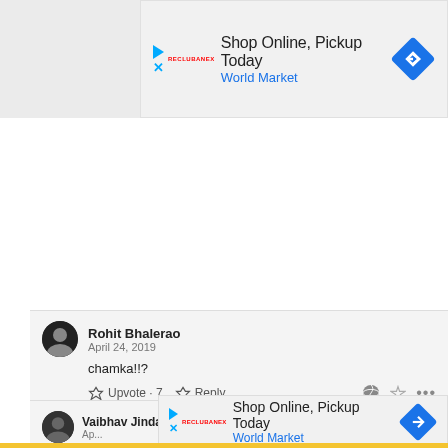[Figure (screenshot): Advertisement banner: 'Shop Online, Pickup Today' - World Market, with play icon, X icon, RecruBanex label, and blue diamond directional sign icon]
Rohit Bhalerao
April 24, 2019
chamka!!?
Upvote · 7   Reply
Vaibhav Jindal
Ap...
Ev...
[Figure (screenshot): Advertisement banner (partial): 'Shop Online, Pickup Today' - World Market, overlaying the second comment]